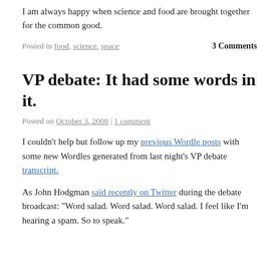I am always happy when science and food are brought together for the common good.
Posted in food, science, space     3 Comments
VP debate: It had some words in it.
Posted on October 3, 2008 | 1 comment
I couldn't help but follow up my previous Wordle posts with some new Wordles generated from last night's VP debate transcript.
As John Hodgman said recently on Twitter during the debate broadcast: “Word salad. Word salad. Word salad. I feel like I’m hearing a spam. So to speak.”